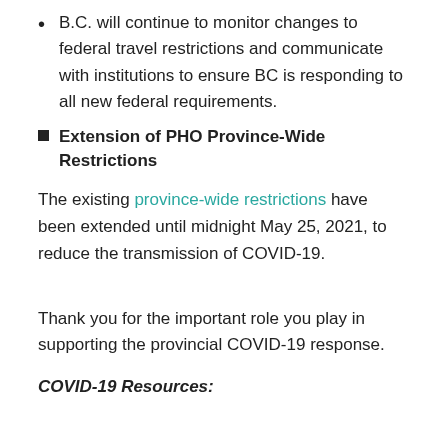B.C. will continue to monitor changes to federal travel restrictions and communicate with institutions to ensure BC is responding to all new federal requirements.
Extension of PHO Province-Wide Restrictions
The existing province-wide restrictions have been extended until midnight May 25, 2021, to reduce the transmission of COVID-19.
Thank you for the important role you play in supporting the provincial COVID-19 response.
COVID-19 Resources: